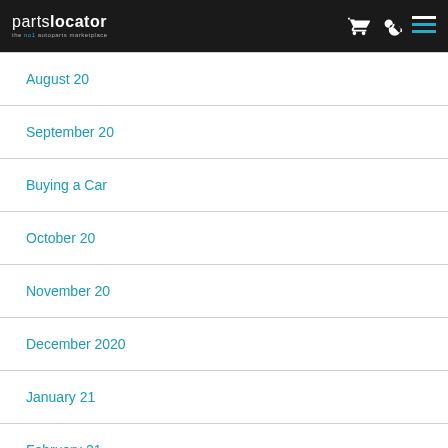partslocator - the no1 autoparts marketplace
August 20
September 20
Buying a Car
October 20
November 20
December 2020
January 21
February 21
March 21